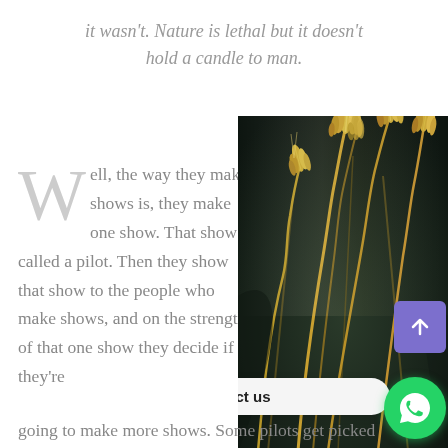it wasn't. Nature is lethal but it doesn't hold a candle to man.
Well, the way they make shows is, they make one show. That show's called a pilot. Then they show that show to the people who make shows, and on the strength of that one show they decide if they're going to make more shows. Some pilots get picked
[Figure (photo): Close-up photograph of wheat or barley stalks against a dark background]
Contact us